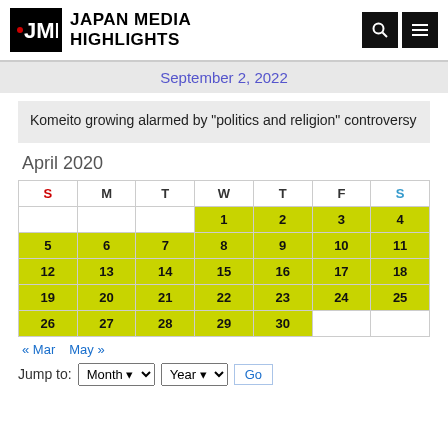Japan Media Highlights
September 2, 2022
Komeito growing alarmed by “politics and religion” controversy
April 2020
| S | M | T | W | T | F | S |
| --- | --- | --- | --- | --- | --- | --- |
|  |  |  | 1 | 2 | 3 | 4 |
| 5 | 6 | 7 | 8 | 9 | 10 | 11 |
| 12 | 13 | 14 | 15 | 16 | 17 | 18 |
| 19 | 20 | 21 | 22 | 23 | 24 | 25 |
| 26 | 27 | 28 | 29 | 30 |  |  |
« Mar   May »
Jump to: Month Year Go